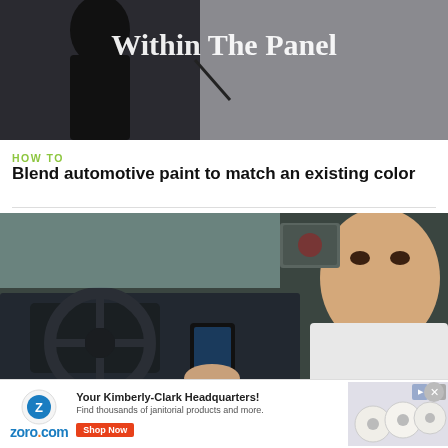[Figure (photo): Video thumbnail showing person near car panel with 'Within The Panel' text overlay]
HOW TO
Blend automotive paint to match an existing color
[Figure (photo): Man sitting in driver's seat of 2011 Hyundai Sonata interior, holding a phone near the dashboard]
HOW TO
Setup bluetooth in a 2011 Hyundai Sonata
[Figure (infographic): Advertisement banner for zoro.com - Your Kimberly-Clark Headquarters! Find thousands of janitorial products and more. Shop Now button, with image of toilet paper rolls.]